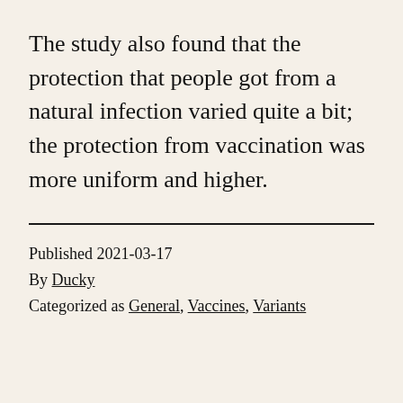The study also found that the protection that people got from a natural infection varied quite a bit; the protection from vaccination was more uniform and higher.
Published 2021-03-17
By Ducky
Categorized as General, Vaccines, Variants